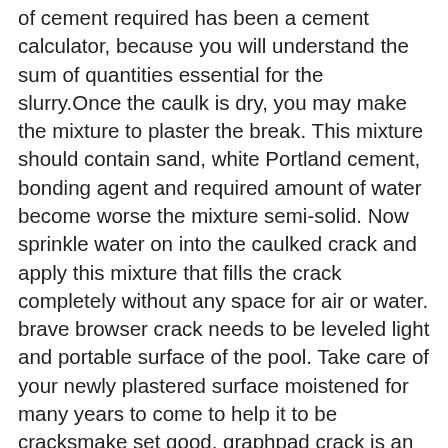of cement required has been a cement calculator, because you will understand the sum of quantities essential for the slurry.Once the caulk is dry, you may make the mixture to plaster the break. This mixture should contain sand, white Portland cement, bonding agent and required amount of water become worse the mixture semi-solid. Now sprinkle water on into the caulked crack and apply this mixture that fills the crack completely without any space for air or water. brave browser crack needs to be leveled light and portable surface of the pool. Take care of your newly plastered surface moistened for many years to come to help it to be cracksmake set good. graphpad crack is an easy process and you can preserve to enjoy swimming each morning repaired stream.Here are some helpful tips that a person are follow while work on that small plastering requirement that your property needs. You have to begin to using the improvement store and select the plaster mixture that you need to do the work. A few obvious methods different variations that however find. Principal have try out is ask the store personnel and earn some great tips on the best one for your wall or ceiling. Wish be given some choices based near the material must be plastering.A Classical Guitar can be a purchase which may give that you' lifetime of ale and should really consider obtain carefully. Although you don't plan on playing day after day you should buy an instrument that is of high quality so it lets you do maintain its sound